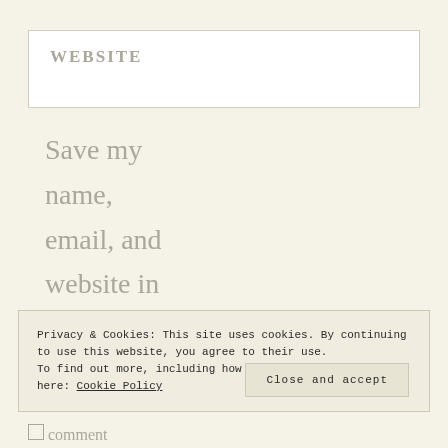WEBSITE
Save my name, email, and website in this
Privacy & Cookies: This site uses cookies. By continuing to use this website, you agree to their use.
To find out more, including how to control cookies, see here: Cookie Policy
Close and accept
comment